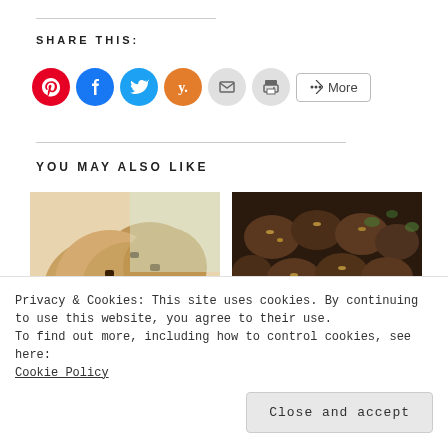SHARE THIS:
[Figure (infographic): Row of social share buttons: Pinterest (red circle), Facebook (blue circle), Twitter (light blue circle), Yummly (orange circle), Email (grey circle), Print (grey circle), and a More button with share icon]
YOU MAY ALSO LIKE
[Figure (photo): Photo of chocolate chip cookies on a white plate]
[Figure (photo): Photo of chocolate covered candy bites on a cooling rack]
Privacy & Cookies: This site uses cookies. By continuing to use this website, you agree to their use.
To find out more, including how to control cookies, see here:
Cookie Policy
Close and accept